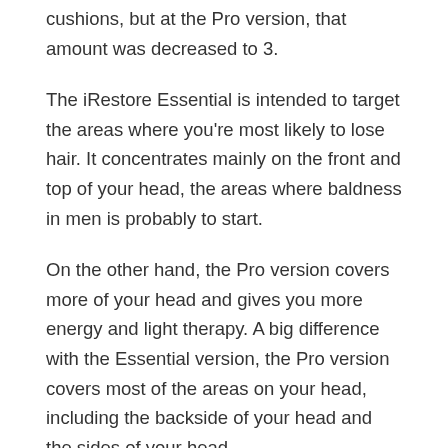cushions, but at the Pro version, that amount was decreased to 3.
The iRestore Essential is intended to target the areas where you're most likely to lose hair. It concentrates mainly on the front and top of your head, the areas where baldness in men is probably to start.
On the other hand, the Pro version covers more of your head and gives you more energy and light therapy. A big difference with the Essential version, the Pro version covers most of the areas on your head, including the backside of your head and the sides of your head.
Despite the iRestore Pro's higher price, the 282 medical-grade lasers make it a strong, efficient laser that gives you quicker and better results.
The Pro version was designed to make the whole process faster. The Pro is the best solution when a lot of your head has been affected by severe hair loss, including your sides and back